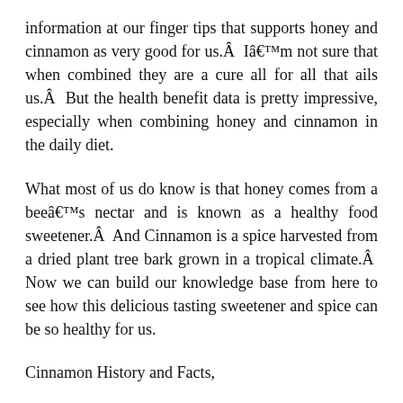information at our finger tips that supports honey and cinnamon as very good for us.Â  Iâ€™m not sure that when combined they are a cure all for all that ails us.Â  But the health benefit data is pretty impressive, especially when combining honey and cinnamon in the daily diet.
What most of us do know is that honey comes from a beeâ€™s nectar and is known as a healthy food sweetener.Â  And Cinnamon is a spice harvested from a dried plant tree bark grown in a tropical climate.Â  Now we can build our knowledge base from here to see how this delicious tasting sweetener and spice can be so healthy for us.
Cinnamon History and Facts,
â€œAlthough cinnamon is grown within many countries such as Java, Sumatra, Borneo, Maurtius, Reunion and Guyana, it is also grown in South American, West Indies and other tropical climates.Â  The best and â€œone true cinnamonâ€